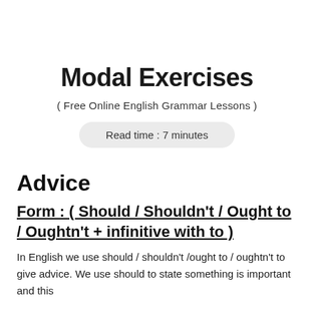Modal Exercises
( Free Online English Grammar Lessons )
Read time : 7 minutes
Advice
Form : ( Should / Shouldn't / Ought to / Oughtn't + infinitive with to )
In English we use should / shouldn't /ought to / oughtn't to give advice. We use should to state something is important and this ...